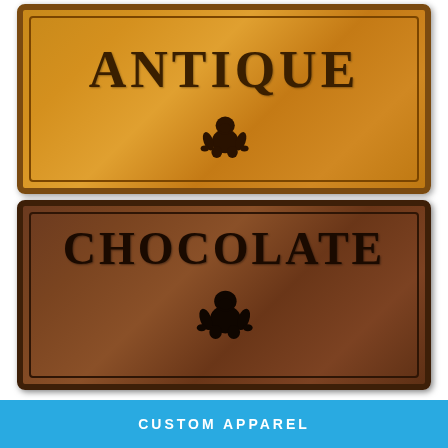[Figure (photo): Leather patch badge with 'ANTIQUE' text in dark brown serif letters and a gorilla silhouette, on golden-tan leather background with dark brown border]
[Figure (photo): Leather patch badge with 'CHOCOLATE' text in dark brown serif letters and a gorilla silhouette (partially visible), on dark chocolate brown leather background with dark border]
CUSTOM APPAREL